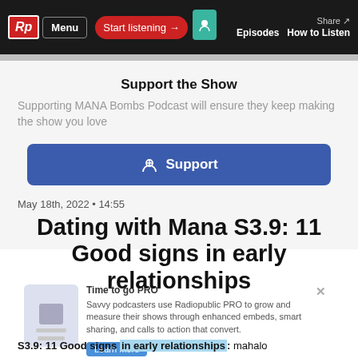Rp Menu | Start listening → | Share → | Episodes | How to Listen
Support the Show
Supporting MANA Bombs Podcast will ensure they keep making the show you love
$ Support
May 18th, 2022 • 14:55
Dating with Mana S3.9: 11 Good signs in early relationships
Time to go PRO
Savvy podcasters use Radiopublic PRO to grow and measure their shows through enhanced embeds, smart sharing, and calls to action that convert.
S3.9: 11 Good signs in early relationships: mahalo